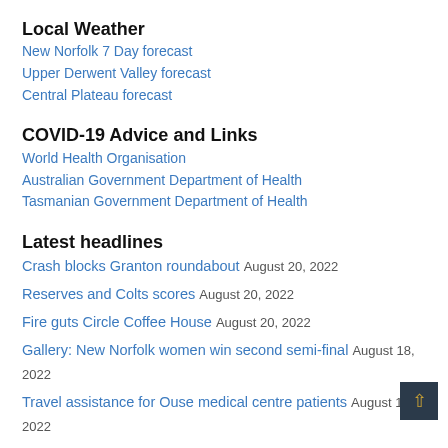Local Weather
New Norfolk 7 Day forecast
Upper Derwent Valley forecast
Central Plateau forecast
COVID-19 Advice and Links
World Health Organisation
Australian Government Department of Health
Tasmanian Government Department of Health
Latest headlines
Crash blocks Granton roundabout August 20, 2022
Reserves and Colts scores August 20, 2022
Fire guts Circle Coffee House August 20, 2022
Gallery: New Norfolk women win second semi-final August 18, 2022
Travel assistance for Ouse medical centre patients August 18, 2022
Filter by topic